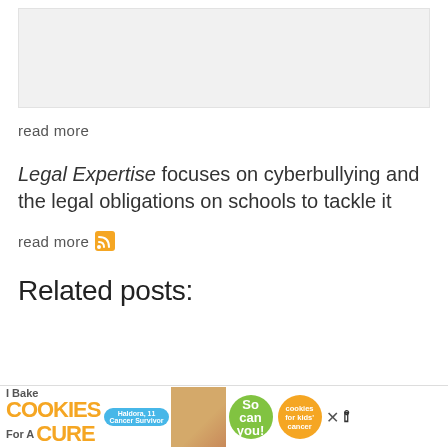[Figure (other): Placeholder image area (light gray box)]
read more
Legal Expertise focuses on cyberbullying and the legal obligations on schools to tackle it
read more
Related posts:
[Figure (illustration): Advertisement banner: I Bake COOKIES For A CURE - So can you! with cookies for cancer logo and close button]